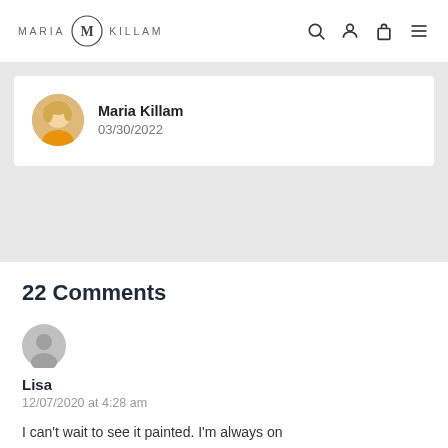MARIA KILLAM
Maria Killam
03/30/2022
22 Comments
Lisa
12/07/2020 at 4:28 am
I can't wait to see it painted. I'm always on